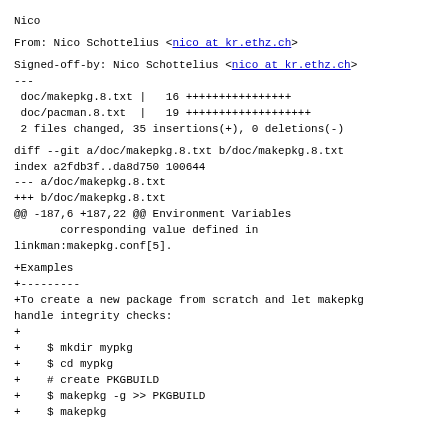Nico
From: Nico Schottelius <nico at kr.ethz.ch>
Signed-off-by: Nico Schottelius <nico at kr.ethz.ch>
---
 doc/makepkg.8.txt |   16 ++++++++++++++++
 doc/pacman.8.txt  |   19 +++++++++++++++++++
 2 files changed, 35 insertions(+), 0 deletions(-)
diff --git a/doc/makepkg.8.txt b/doc/makepkg.8.txt
index a2fdb3f..da8d750 100644
--- a/doc/makepkg.8.txt
+++ b/doc/makepkg.8.txt
@@ -187,6 +187,22 @@ Environment Variables
        corresponding value defined in
linkman:makepkg.conf[5].
+Examples
+---------
+To create a new package from scratch and let makepkg
handle integrity checks:
+
+    $ mkdir mypkg
+    $ cd mypkg
+    # create PKGBUILD
+    $ makepkg -g >> PKGBUILD
+    $ makepkg